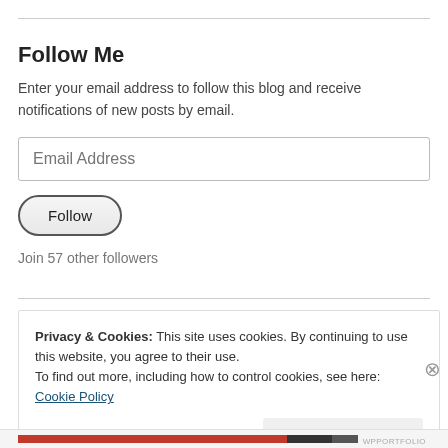Follow Me
Enter your email address to follow this blog and receive notifications of new posts by email.
Email Address
Follow
Join 57 other followers
Privacy & Cookies: This site uses cookies. By continuing to use this website, you agree to their use.
To find out more, including how to control cookies, see here: Cookie Policy
Close and accept